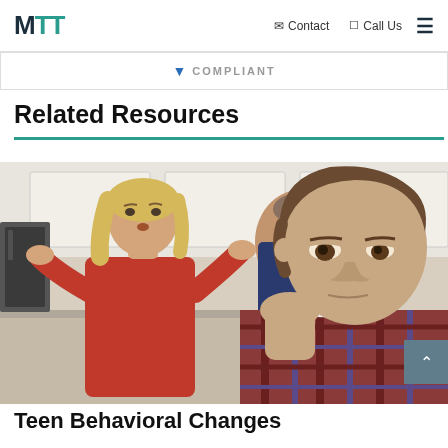MTT | Contact | Call Us
COMPLIANT
Related Resources
[Figure (photo): A teenage boy in a plaid shirt rests his chin on his hand looking bored or disengaged, while in the background a woman in red gestures expressively and a man holds a coffee mug in a kitchen setting.]
Teen Behavioral Changes